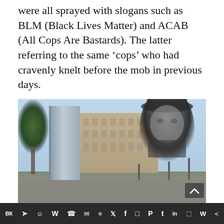were all sprayed with slogans such as BLM (Black Lives Matter) and ACAB (All Cops Are Bastards). The latter referring to the same ‘cops’ who had cravenly knelt before the mob in previous days.
[Figure (photo): Photograph of a large grey rectangular monument/box on a public square in London, with a classical government building behind it, trees to the left, and a composited historical figure overlay on the right side. A scroll-to-top chevron button appears in the lower right corner of the image.]
Social sharing bar with icons: VK, Telegram, Reddit, WordPress, WhatsApp, Email, Buffer, Twitter, Facebook, Instagram, Pinterest, Tumblr, LinkedIn, Share, Wechat, Share